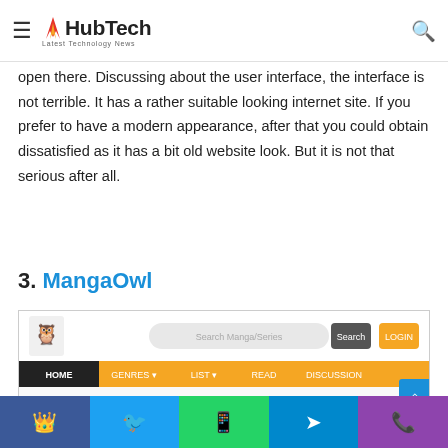HubTech — Latest Technology News
open there. Discussing about the user interface, the interface is not terrible. It has a rather suitable looking internet site. If you prefer to have a modern appearance, after that you could obtain dissatisfied as it has a bit old website look. But it is not that serious after all.
3. MangaOwl
[Figure (screenshot): Screenshot of MangaOwl website showing the homepage with search bar, navigation menu (HOME, GENRES, LIST, READ, DISCUSSION), orange and black color scheme, and owl logo.]
Facebook | Twitter | WhatsApp | Telegram | Phone